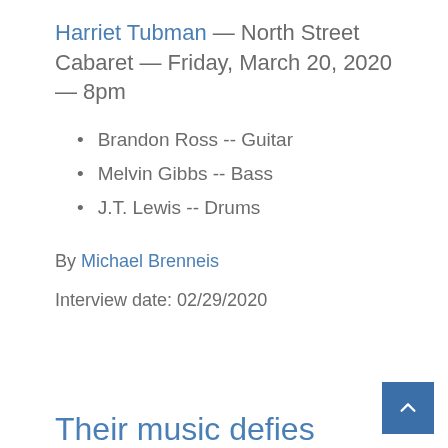Harriet Tubman — North Street Cabaret — Friday, March 20, 2020 — 8pm
Brandon Ross -- Guitar
Melvin Gibbs -- Bass
J.T. Lewis -- Drums
By Michael Brenneis
Interview date: 02/29/2020
Their music defies